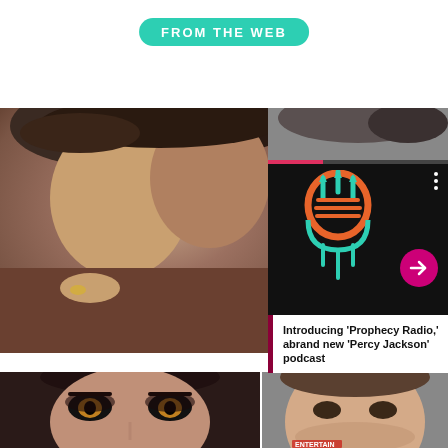FROM THE WEB
[Figure (photo): Couple kissing/embracing, close-up of faces and hands with ring, background photo card]
[Figure (photo): Dark background with person's hair visible at top right]
[Figure (logo): Podcast card with dark background, microphone logo in orange and teal, progress bar in pink, three-dot menu, arrow button in magenta]
Introducing 'Prophecy Radio,' abrand new 'Percy Jackson' podcast
Co-Stars Wh Kissing Eac A Little Too
[Figure (photo): Close up of woman's face with orange/amber eyes and short dark hair, dramatic makeup]
[Figure (photo): Man's face with stubble beard, entertainment weekly logo partially visible at bottom]